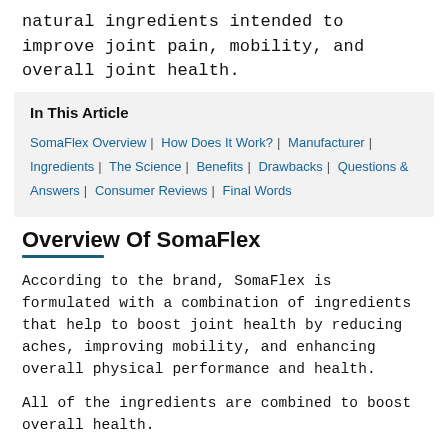natural ingredients intended to improve joint pain, mobility, and overall joint health.
In This Article
SomaFlex Overview | How Does It Work? | Manufacturer | Ingredients | The Science | Benefits | Drawbacks | Questions & Answers | Consumer Reviews | Final Words
Overview Of SomaFlex
According to the brand, SomaFlex is formulated with a combination of ingredients that help to boost joint health by reducing aches, improving mobility, and enhancing overall physical performance and health.
All of the ingredients are combined to boost overall health.